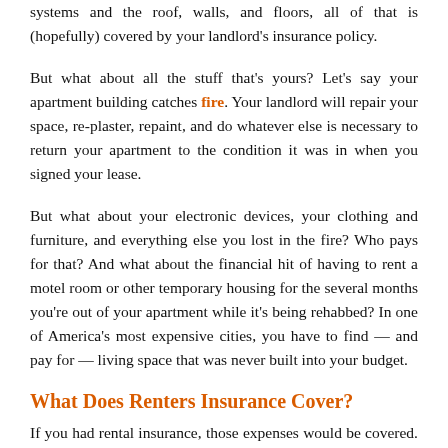systems and the roof, walls, and floors, all of that is (hopefully) covered by your landlord's insurance policy.
But what about all the stuff that's yours? Let's say your apartment building catches fire. Your landlord will repair your space, re-plaster, repaint, and do whatever else is necessary to return your apartment to the condition it was in when you signed your lease.
But what about your electronic devices, your clothing and furniture, and everything else you lost in the fire? Who pays for that? And what about the financial hit of having to rent a motel room or other temporary housing for the several months you're out of your apartment while it's being rehabbed? In one of America's most expensive cities, you have to find — and pay for — living space that was never built into your budget.
What Does Renters Insurance Cover?
If you had rental insurance, those expenses would be covered. Most renters insurance policies cover damages to your belongings caused by fire, and also flooding...